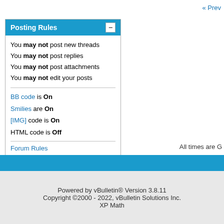« Prev
Posting Rules
You may not post new threads
You may not post replies
You may not post attachments
You may not edit your posts
BB code is On
Smilies are On
[IMG] code is On
HTML code is Off
Forum Rules
All times are G
Powered by vBulletin® Version 3.8.11
Copyright ©2000 - 2022, vBulletin Solutions Inc.
XP Math